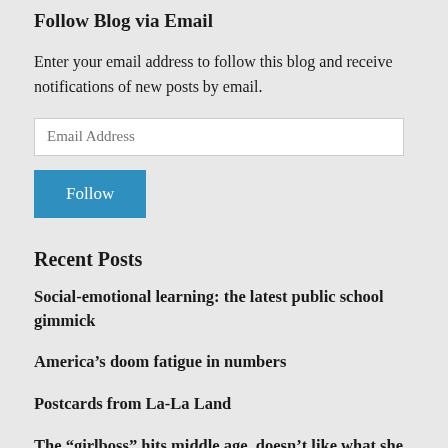Follow Blog via Email
Enter your email address to follow this blog and receive notifications of new posts by email.
Recent Posts
Social-emotional learning: the latest public school gimmick
America’s doom fatigue in numbers
Postcards from La-La Land
The “girlboss” hits middle age, doesn’t like what she